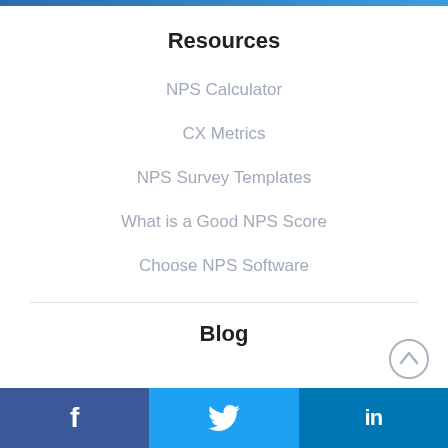Resources
NPS Calculator
CX Metrics
NPS Survey Templates
What is a Good NPS Score
Choose NPS Software
Blog
Facebook | Twitter | LinkedIn